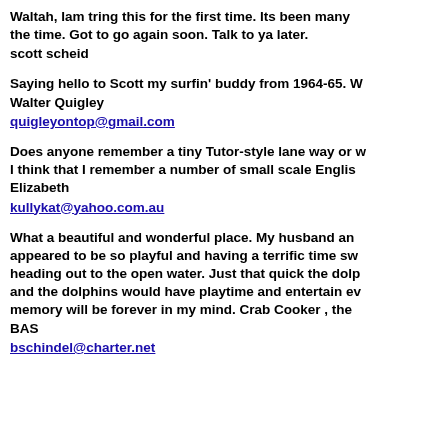Waltah, Iam tring this for the first time. Its been many the time. Got to go again soon. Talk to ya later.
scott scheid
Saying hello to Scott my surfin' buddy from 1964-65. W Walter Quigley
quigleyontop@gmail.com
Does anyone remember a tiny Tutor-style lane way or w I think that I remember a number of small scale Englis Elizabeth
kullykat@yahoo.com.au
What a beautiful and wonderful place. My husband an appeared to be so playful and having a terrific time sw heading out to the open water. Just that quick the dolp and the dolphins would have playtime and entertain ev memory will be forever in my mind. Crab Cooker , the BAS
bschindel@charter.net